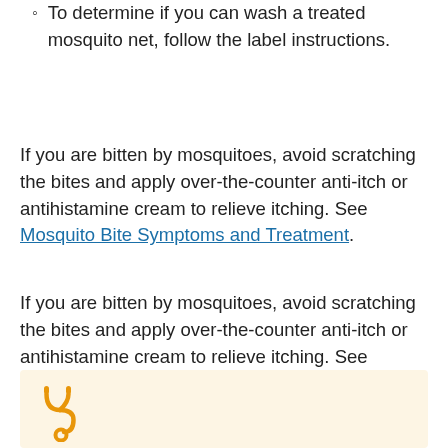To determine if you can wash a treated mosquito net, follow the label instructions.
If you are bitten by mosquitoes, avoid scratching the bites and apply over-the-counter anti-itch or antihistamine cream to relieve itching. See Mosquito Bite Symptoms and Treatment.
If you are bitten by mosquitoes, avoid scratching the bites and apply over-the-counter anti-itch or antihistamine cream to relieve itching. See Mosquito Bite Symptoms and Treatment.
[Figure (illustration): Orange stethoscope icon on a light yellow/beige background box]